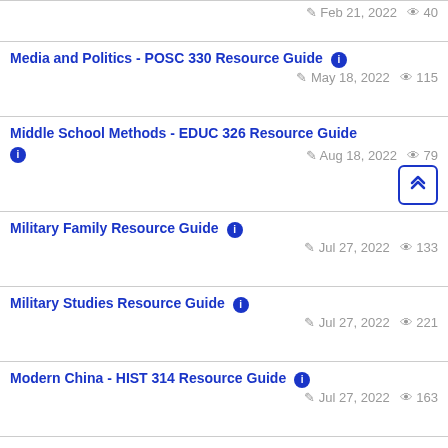Feb 21, 2022  40
Media and Politics - POSC 330 Resource Guide  May 18, 2022  115
Middle School Methods - EDUC 326 Resource Guide  Aug 18, 2022  79
Military Family Resource Guide  Jul 27, 2022  133
Military Studies Resource Guide  Jul 27, 2022  221
Modern China - HIST 314 Resource Guide  Jul 27, 2022  163